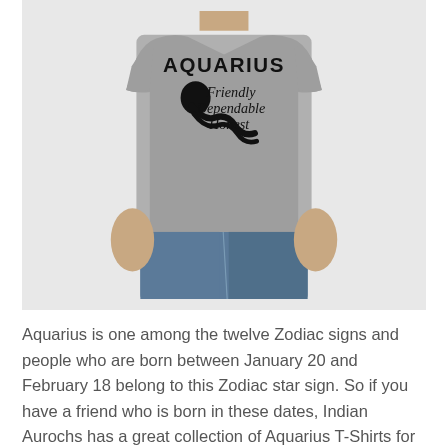[Figure (photo): A man wearing a grey t-shirt with 'AQUARIUS Friendly Dependable Honest' printed on the front with an Aquarius zodiac symbol.]
Aquarius is one among the twelve Zodiac signs and people who are born between January 20 and February 18 belong to this Zodiac star sign. So if you have a friend who is born in these dates, Indian Aurochs has a great collection of Aquarius T-Shirts for you to gift your friend. Generally, the